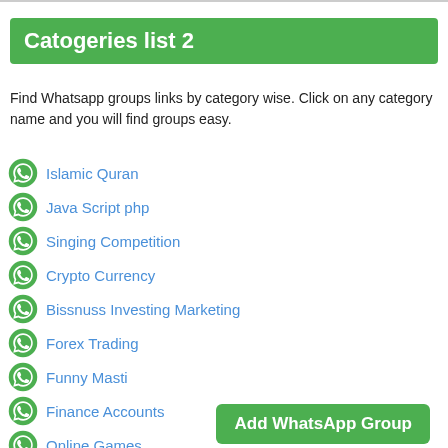Catogeries list 2
Find Whatsapp groups links by category wise. Click on any category name and you will find groups easy.
Islamic Quran
Java Script php
Singing Competition
Crypto Currency
Bissnuss Investing Marketing
Forex Trading
Funny Masti
Finance Accounts
Online Games
Jobs Vacancy
Language Learning
Education School
Collage University